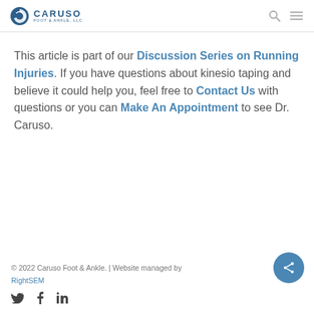Caruso Foot & Ankle, LLC
This article is part of our Discussion Series on Running Injuries. If you have questions about kinesio taping and believe it could help you, feel free to Contact Us with questions or you can Make An Appointment to see Dr. Caruso.
© 2022 Caruso Foot & Ankle. | Website managed by RightSEM